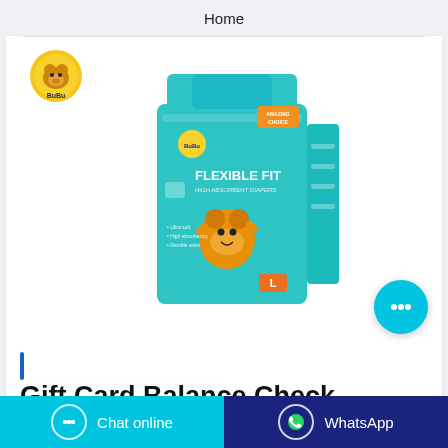Home
[Figure (photo): BuBu brand baby diaper package — teal/turquoise packaging with BuBu logo, 'Flexible Fit' text, and cartoon bear mascot, size L]
Gift Card Balance Check
Chat online
WhatsApp